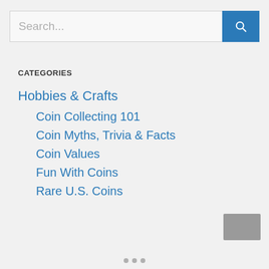[Figure (screenshot): Search bar with text input showing placeholder 'Search...' and a blue search button with magnifying glass icon]
CATEGORIES
Hobbies & Crafts
Coin Collecting 101
Coin Myths, Trivia & Facts
Coin Values
Fun With Coins
Rare U.S. Coins